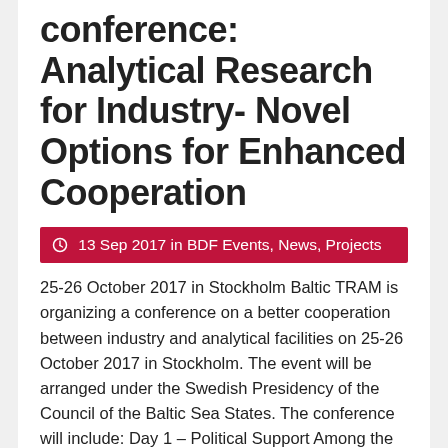conference: Analytical Research for Industry- Novel Options for Enhanced Cooperation
13 Sep 2017 in BDF Events, News, Projects
25-26 October 2017 in Stockholm Baltic TRAM is organizing a conference on a better cooperation between industry and analytical facilities on 25-26 October 2017 in Stockholm. The event will be arranged under the Swedish Presidency of the Council of the Baltic Sea States. The conference will include: Day 1 – Political Support Among the prominent speakers are: Stefan Michalowski, former…